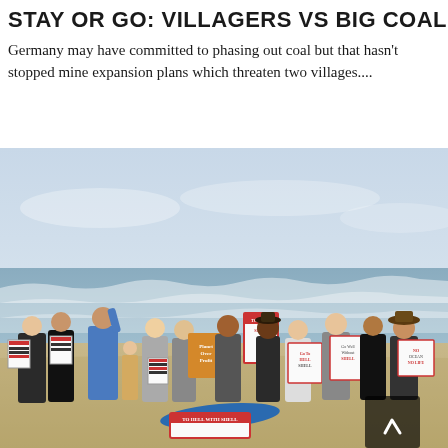STAY OR GO: VILLAGERS VS BIG COAL
Germany may have committed to phasing out coal but that hasn't stopped mine expansion plans which threaten two villages....
[Figure (photo): Group of protesters standing on a beach holding signs including 'To Hell With Shell', 'Planet Over Profit', 'Go To Hell Shell', 'Go Well Without Shell', 'No Ocean No Life', and other anti-Shell protest signs. Ocean waves visible in background. People wearing casual beach attire. A blue surfboard visible on the ground.]